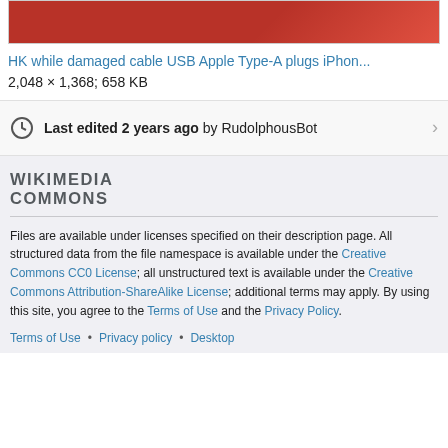[Figure (photo): Partial view of a damaged USB cable with red/pink tones visible at the top of the image box.]
HK while damaged cable USB Apple Type-A plugs iPhon...
2,048 × 1,368; 658 KB
Last edited 2 years ago by RudolphousBot
WIKIMEDIA COMMONS
Files are available under licenses specified on their description page. All structured data from the file namespace is available under the Creative Commons CC0 License; all unstructured text is available under the Creative Commons Attribution-ShareAlike License; additional terms may apply. By using this site, you agree to the Terms of Use and the Privacy Policy.
Terms of Use • Privacy policy • Desktop